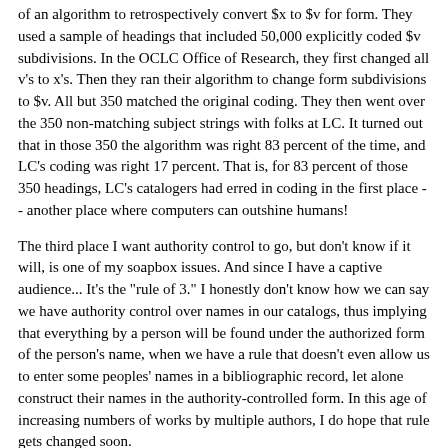of an algorithm to retrospectively convert $x to $v for form. They used a sample of headings that included 50,000 explicitly coded $v subdivisions. In the OCLC Office of Research, they first changed all v's to x's. Then they ran their algorithm to change form subdivisions to $v. All but 350 matched the original coding. They then went over the 350 non-matching subject strings with folks at LC. It turned out that in those 350 the algorithm was right 83 percent of the time, and LC's coding was right 17 percent. That is, for 83 percent of those 350 headings, LC's catalogers had erred in coding in the first place -- another place where computers can outshine humans!
The third place I want authority control to go, but don't know if it will, is one of my soapbox issues. And since I have a captive audience... It's the "rule of 3." I honestly don't know how we can say we have authority control over names in our catalogs, thus implying that everything by a person will be found under the authorized form of the person's name, when we have a rule that doesn't even allow us to enter some peoples' names in a bibliographic record, let alone construct their names in the authority-controlled form. In this age of increasing numbers of works by multiple authors, I do hope that rule gets changed soon.
Finally, we should talk about what's going to happen with authority control of names on the Internet. While Jennifer Younger's idea of "utility" on the basis for considering authority control over names...